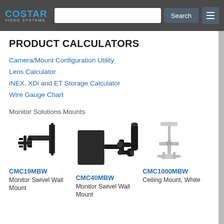COSTAR VIDEO SYSTEMS
PRODUCT CALCULATORS
Camera/Mount Configuration Utility
Lens Calculator
iNEX, XDi and ET Storage Calculator
Wire Gauge Chart
Monitor Solutions Mounts
[Figure (photo): CMC19MBW Monitor Swivel Wall Mount - black wall mount bracket with swivel arm]
CMC19MBW
Monitor Swivel Wall Mount
[Figure (photo): CMC40MBW Monitor Swivel Wall Mount - large black swivel wall mount with extended arm and cylinder]
CMC40MBW
Monitor Swivel Wall Mount
[Figure (photo): CMC1000MBW Ceiling Mount White - white ceiling mount bracket]
CMC1000MBW
Ceiling Mount, White